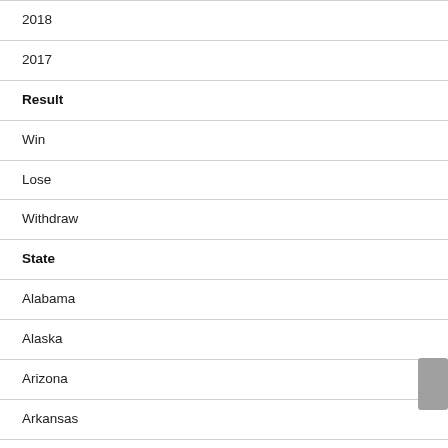2018
2017
Result
Win
Lose
Withdraw
State
Alabama
Alaska
Arizona
Arkansas
California
Colorado
Connecticut
Delaware